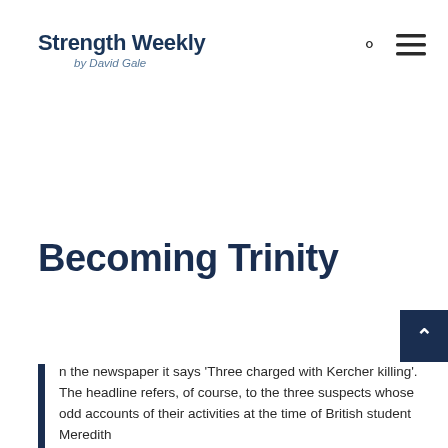Strength Weekly by David Gale
Becoming Trinity
n the newspaper it says 'Three charged with Kercher killing'. The headline refers, of course, to the three suspects whose odd accounts of their activities at the time of British student Meredith